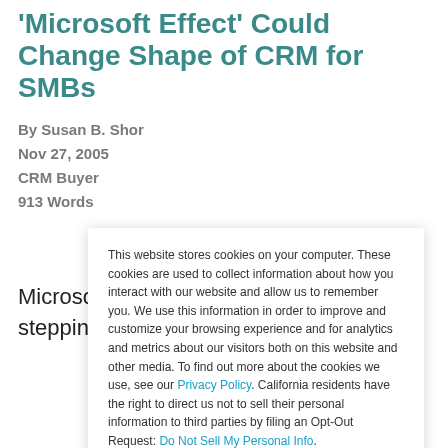'Microsoft Effect' Could Change Shape of CRM for SMBs
By Susan B. Shor
Nov 27, 2005
CRM Buyer
913 Words
Microsoft announced in July it was stepping full force
This website stores cookies on your computer. These cookies are used to collect information about how you interact with our website and allow us to remember you. We use this information in order to improve and customize your browsing experience and for analytics and metrics about our visitors both on this website and other media. To find out more about the cookies we use, see our Privacy Policy. California residents have the right to direct us not to sell their personal information to third parties by filing an Opt-Out Request: Do Not Sell My Personal Info.